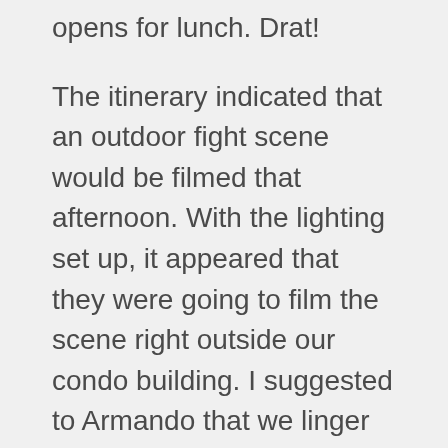opens for lunch.  Drat!
The itinerary indicated that an outdoor fight scene would be filmed that afternoon.  With the lighting set up, it appeared that they were going to film the scene right outside our condo building.  I suggested to Armando that we linger in our condo lobby because we had a perfect view from there.  We sat on the lobby couch and Armando grabbed a newspaper to disguise our intent.
“Have you seen Steven yet?”  A woman asked us as she walked into our building.  We gave her a  confused look, pretending to have no idea what she was talking about.  Acting at its finest.  “I guess Steven Seagal is shooting a show here,” she explained.  We had her fooled.  Can anyone say